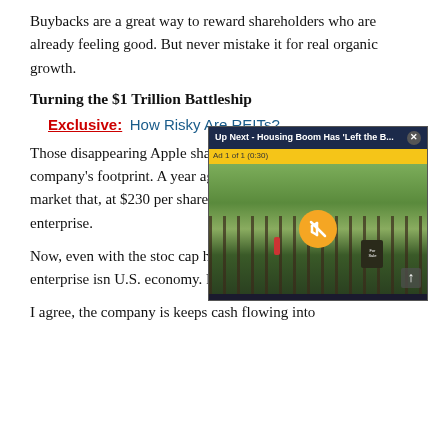Buybacks are a great way to reward shareholders who are already feeling good. But never mistake it for real organic growth.
Turning the $1 Trillion Battleship
Exclusive:  How Risky Are REITs?
Those disappearing Apple shares also mask the size of the company's footprint. A year ago, there was enough stock on the market that, at $230 per share, this was a $1.09 trillion enterprise.
Now, even with the stock... cap has barely nudged u... richer, the enterprise isn... U.S. economy. Relative ... is deflating while the sto...
[Figure (screenshot): Video overlay: 'Up Next - Housing Boom Has Left the B...' with ad label 'Ad 1 of 1 (0:30)', mute button, and street scene photograph with For Sale sign]
I agree, the company is... keeps cash flowing into...